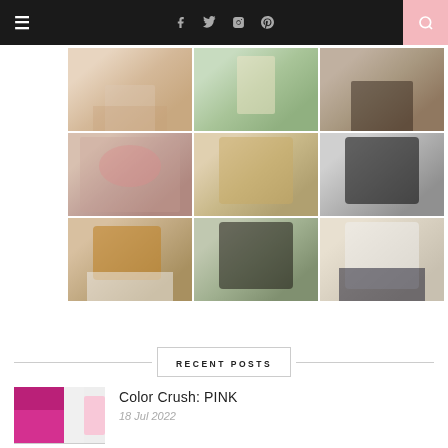Navigation bar with hamburger menu, social icons (Facebook, Twitter, Instagram, Pinterest), and search button
[Figure (photo): 3x3 grid of fashion outfit photos showing a woman in various outfits including white shorts, dresses, and casual wear in a hotel/resort room setting]
RECENT POSTS
[Figure (photo): Thumbnail preview image showing pink clothing items including skirt and accessories]
Color Crush: PINK
18 Jul 2022